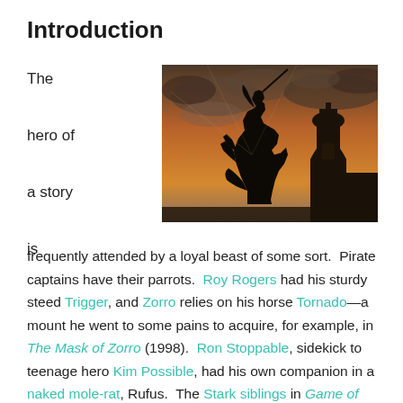Introduction
[Figure (photo): Silhouette of a horse rearing up with a rider, with a church dome and cross in the background against a dramatic sunset sky.]
The hero of a story is frequently attended by a loyal beast of some sort.  Pirate captains have their parrots.  Roy Rogers had his sturdy steed Trigger, and Zorro relies on his horse Tornado—a mount he went to some pains to acquire, for example, in The Mask of Zorro (1998).  Ron Stoppable, sidekick to teenage hero Kim Possible, had his own companion in a naked mole-rat, Rufus.  The Stark siblings in Game of Thrones (I finally got around to watching the first episode last week) each have a direwolf.  For those who